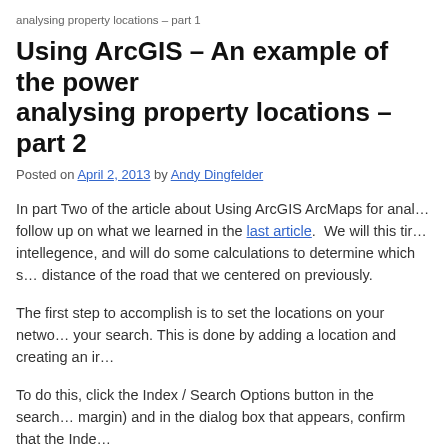analysing property locations – part 1
Using ArcGIS – An example of the power of analysing property locations – part 2
Posted on April 2, 2013 by Andy Dingfelder
In part Two of the article about Using ArcGIS ArcMaps for analysing property locations, we follow up on what we learned in the last article.  We will this time use the Business Analyst intellegence, and will do some calculations to determine which properties are within a certain distance of the road that we centered on previously.
The first step to accomplish is to set the locations on your network that you want to include in your search. This is done by adding a location and creating an impedance.
To do this, click the Index / Search Options button in the search toolbar (shown in the right margin) and in the dialog box that appears, confirm that the Index feature is enabled.
In the Browse Folders to be Indexed dialog box, click the Go To button and navigate to the geodatabase, then click Select.